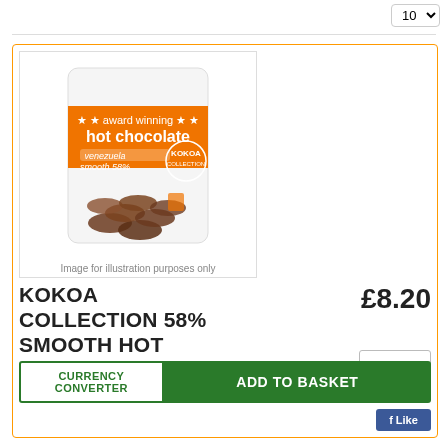10 (dropdown selector)
[Figure (photo): Product photo of Kokoa Collection 58% smooth hot chocolate from Venezuela 210g in a white resealable pouch with an orange label reading 'award winning hot chocolate', 'venezuela', 'smooth 58%', and the Kokoa Collection logo. Chocolate discs visible through packaging.]
Image for illustration purposes only
KOKOA COLLECTION 58% SMOOTH HOT CHOCOLATE FROM VENEZUELA 210G
£8.20
1
CURRENCY CONVERTER
ADD TO BASKET